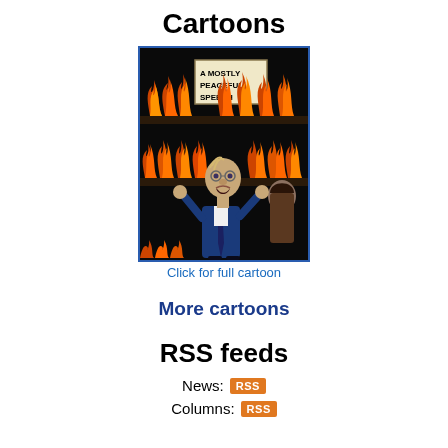Cartoons
[Figure (illustration): Political cartoon showing a caricature figure in a dark suit with arms raised, standing in front of flames/fire background, with a sign reading 'A MOSTLY PEACEFUL SPEECH'. Another figure is partially visible to the right.]
Click for full cartoon
More cartoons
RSS feeds
News: RSS
Columns: RSS